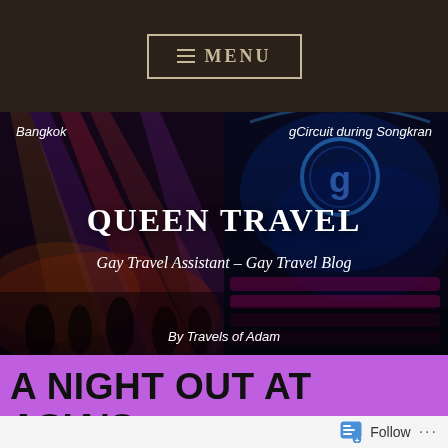≡ MENU
[Figure (photo): Dark nightclub/event photo on the left side showing colorful stage lights, overlaid with a gCircuit event graphic on the right side showing neon signage. Labels 'Bangkok' top-left and 'gCircuit during Songkran' top-right. Site branding 'QUEEN TRAVEL' and 'Gay Travel Assistant – Gay Travel Blog' and 'By Travels of Adam' overlaid on the image.]
A NIGHT OUT AT ASIA'S BIGGEST GAY CIRCUIT PARTY: GCIRCUIT DURING SONGKRAN
Follow ...